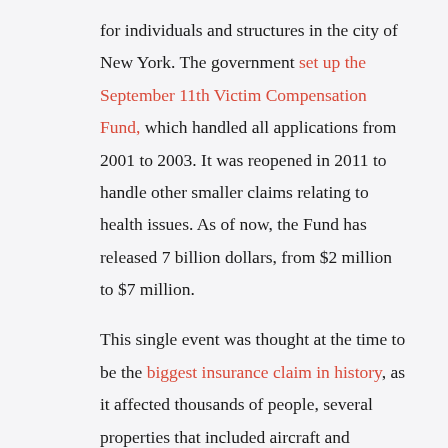for individuals and structures in the city of New York. The government set up the September 11th Victim Compensation Fund, which handled all applications from 2001 to 2003. It was reopened in 2011 to handle other smaller claims relating to health issues. As of now, the Fund has released 7 billion dollars, from $2 million to $7 million.

This single event was thought at the time to be the biggest insurance claim in history, as it affected thousands of people, several properties that included aircraft and skyscrapers, as well as other properties such as cars and shops.